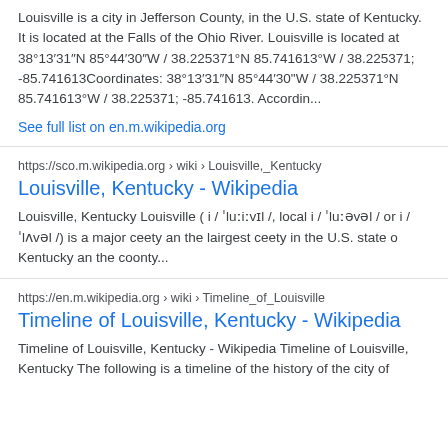Louisville is a city in Jefferson County, in the U.S. state of Kentucky. It is located at the Falls of the Ohio River. Louisville is located at 38°13′31″N 85°44′30″W / 38.225371°N 85.741613°W / 38.225371; -85.741613Coordinates: 38°13′31″N 85°44′30"W / 38.225371°N 85.741613°W / 38.225371; -85.741613. Accordin...
See full list on en.m.wikipedia.org
https://sco.m.wikipedia.org › wiki › Louisville,_Kentucky
Louisville, Kentucky - Wikipedia
Louisville, Kentucky Louisville ( i / ˈluːiːvɪl /, local i / ˈluːəvəl / or i / ˈlʌvəl /) is a major ceety an the lairgest ceety in the U.S. state o Kentucky an the coonty...
https://en.m.wikipedia.org › wiki › Timeline_of_Louisville
Timeline of Louisville, Kentucky - Wikipedia
Timeline of Louisville, Kentucky - Wikipedia Timeline of Louisville, Kentucky The following is a timeline of the history of the city of